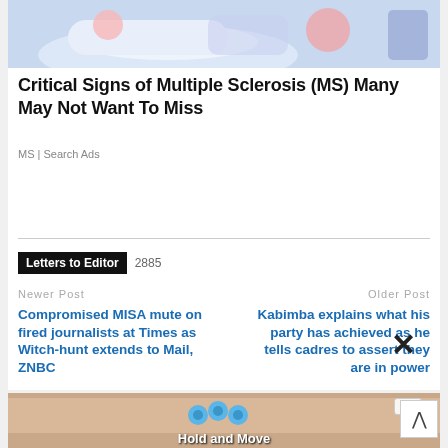[Figure (illustration): Colorful illustration showing a person reclining, medical/health themed with soft blue and pink tones]
Critical Signs of Multiple Sclerosis (MS) Many May Not Want To Miss
MS | Search Ads
Letters to Editor  2885
Newer Post
Compromised MISA mute on fired journalists at Times as Witch-hunt extends to Mail, ZNBC
Older Post
Kabimba explains what his party has achieved as he tells cadres to assert they are in power
[Figure (screenshot): Advertisement banner at bottom showing Hold and Move game with small character figures, with a close X button and help/close icons]